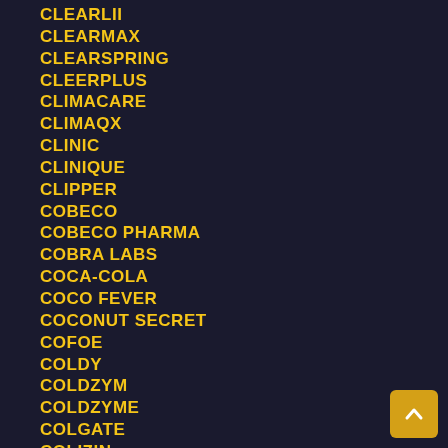CLEARLII
CLEARMAX
CLEARSPRING
CLEERPLUS
CLIMACARE
CLIMAQX
CLINIC
CLINIQUE
CLIPPER
COBECO
COBECO PHARMA
COBRA LABS
COCA-COLA
COCO FEVER
COCONUT SECRET
COFOE
COLDY
COLDZYM
COLDZYME
COLGATE
COLIZIN
COLLADEEN
COLOUR STREAM